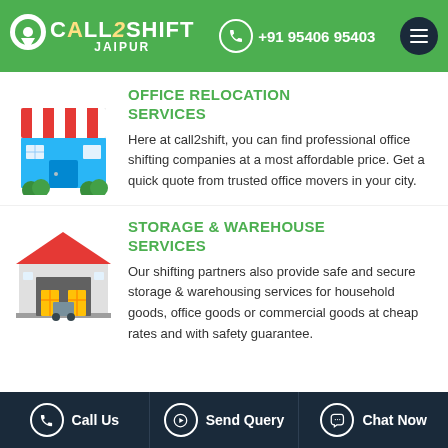CALL2SHIFT JAIPUR | +91 95406 95403
OFFICE RELOCATION SERVICES
Here at call2shift, you can find professional office shifting companies at a most affordable price. Get a quick quote from trusted office movers in your city.
STORAGE & WAREHOUSE SERVICES
Our shifting partners also provide safe and secure storage & warehousing services for household goods, office goods or commercial goods at cheap rates and with safety guarantee.
Call Us | Send Query | Chat Now